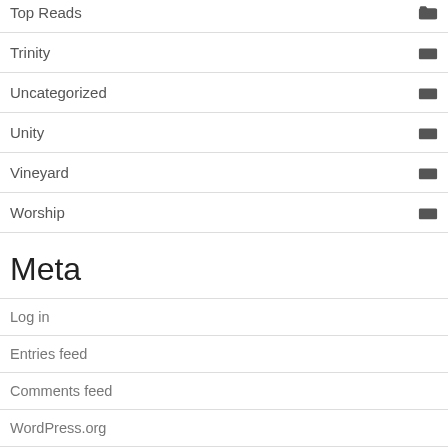Top Reads
Trinity
Uncategorized
Unity
Vineyard
Worship
Meta
Log in
Entries feed
Comments feed
WordPress.org